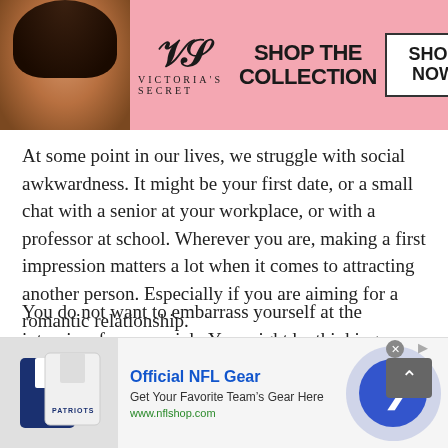[Figure (screenshot): Victoria's Secret advertisement banner with model photo, VS logo, 'SHOP THE COLLECTION' text, and 'SHOP NOW' button on pink background]
At some point in our lives, we struggle with social awkwardness. It might be your first date, or a small chat with a senior at your workplace, or with a professor at school. Wherever you are, making a first impression matters a lot when it comes to attracting another person. Especially if you are aiming for a romantic relationship.
You do not want to embarrass yourself at the interview for a new job. You might be thinking, “Been there, done that!” But not anymore! The random stranger chat at the Talkwithstranger site, you can work on your social skills.
[Figure (screenshot): NFL Official Gear advertisement with Patriots jersey image, 'Official NFL Gear' title in blue, 'Get Your Favorite Team’s Gear Here' subtitle, 'www.nflshop.com' URL, and blue circular navigation arrow button]